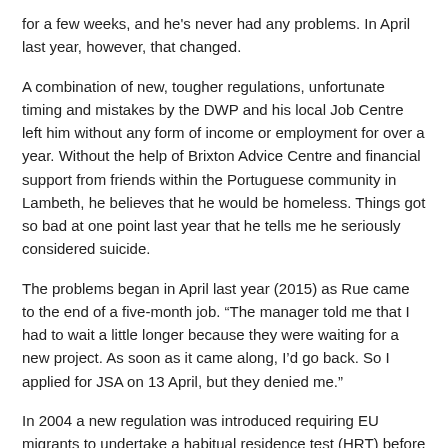for a few weeks, and he's never had any problems. In April last year, however, that changed.
A combination of new, tougher regulations, unfortunate timing and mistakes by the DWP and his local Job Centre left him without any form of income or employment for over a year. Without the help of Brixton Advice Centre and financial support from friends within the Portuguese community in Lambeth, he believes that he would be homeless. Things got so bad at one point last year that he tells me he seriously considered suicide.
The problems began in April last year (2015) as Rue came to the end of a five-month job. “The manager told me that I had to wait a little longer because they were waiting for a new project. As soon as it came along, I’d go back. So I applied for JSA on 13 April, but they denied me.”
In 2004 a new regulation was introduced requiring EU migrants to undertake a habitual residence test (HRT) before they could receive benefits. Initially it only applied to new EU migrants, not those already living in the UK – but in 2014 it was amended to encompass all EU nationals living in the UK, and an additional stipulation was added – the